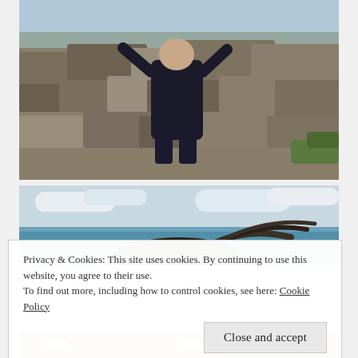[Figure (photo): Person in black clothing and rubber boots sitting on rocky coastal terrain with hands raised, smiling, ocean visible in background]
[Figure (photo): Seaside photo showing ocean and cloudy sky with a person's windswept hair visible at bottom]
Privacy & Cookies: This site uses cookies. By continuing to use this website, you agree to their use.
To find out more, including how to control cookies, see here: Cookie Policy
[Figure (photo): Partial strip of a photo showing people smiling, cropped at bottom of page]